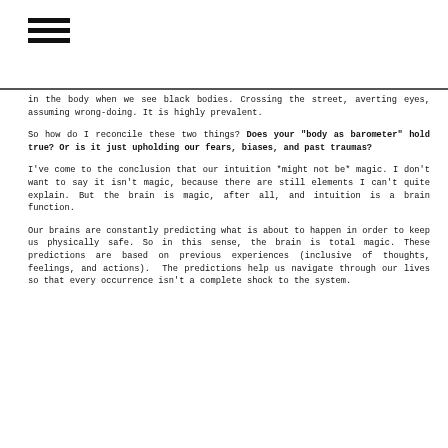[Figure (other): Hamburger menu icon (three horizontal lines)]
in the body when we see black bodies. Crossing the street, averting eyes, assuming wrong-doing. It is highly prevalent.
So how do I reconcile these two things? Does your "body as barometer" hold true? Or is it just upholding our fears, biases, and past traumas?
I've come to the conclusion that our intuition *might not be* magic. I don't want to say it isn't magic, because there are still elements I can't quite explain. But the brain is magic, after all, and intuition is a brain function.
Our brains are constantly predicting what is about to happen in order to keep us physically safe. So in this sense, the brain is total magic. These predictions are based on previous experiences (inclusive of thoughts, feelings, and actions).  The predictions help us navigate through our lives so that every occurrence isn't a complete shock to the system.